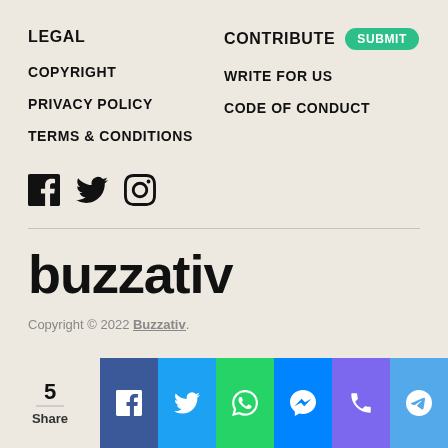LEGAL
CONTRIBUTE SUBMIT
COPYRIGHT
WRITE FOR US
PRIVACY POLICY
CODE OF CONDUCT
TERMS & CONDITIONS
[Figure (illustration): Social media icons: Facebook, Twitter, Instagram]
buzzativ
Copyright © 2022 Buzzativ.
[Figure (infographic): Share bar with count 5 and social share buttons: Facebook, Twitter, WhatsApp, Messenger, Phone, Telegram]